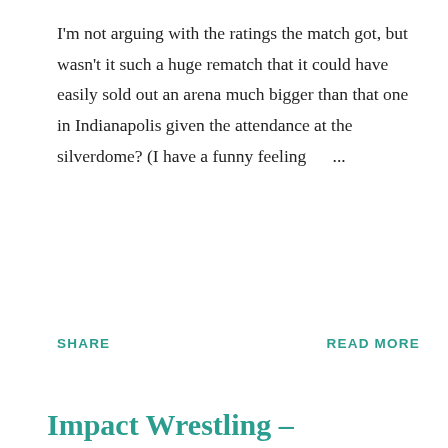I'm not arguing with the ratings the match got, but wasn't it such a huge rematch that it could have easily sold out an arena much bigger than that one in Indianapolis given the attendance at the silverdome? (I have a funny feeling …
SHARE
READ MORE
Impact Wrestling – December 20, 2018
By Scott Keith · December 21, 2018
Impact Wrestling Date: December 20, 2018 Host: Josh Matthews It's the end of the year and therefore it's time for something a little different. For the next two weeks